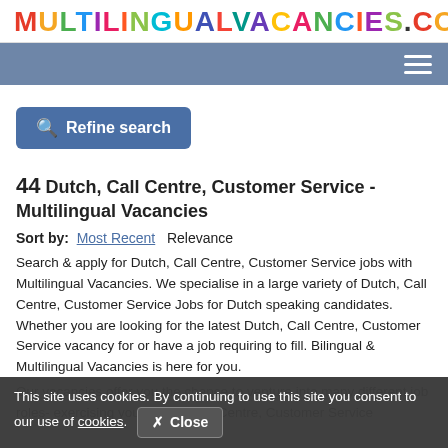MULTILINGUALVACANCIES.COM
[Figure (logo): Hamburger menu icon (three horizontal white lines) on steel blue navigation bar]
Refine search
44 Dutch, Call Centre, Customer Service - Multilingual Vacancies
Sort by: Most Recent   Relevance
Search & apply for Dutch, Call Centre, Customer Service jobs with Multilingual Vacancies. We specialise in a large variety of Dutch, Call Centre, Customer Service Jobs for Dutch speaking candidates. Whether you are looking for the latest Dutch, Call Centre, Customer Service vacancy for or have a job requiring to fill. Bilingual & Multilingual Vacancies is here for you.
Our vacancies offer you the chance to venture into many different job roles- exercising your Dutch, Call Centre, Customer Service skills. The career path...
This site uses cookies. By continuing to use this site you consent to our use of cookies.